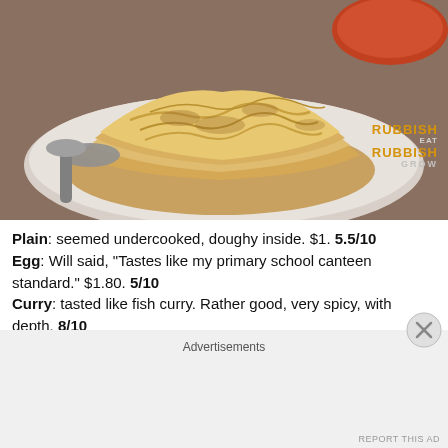[Figure (photo): Close-up photo of roti prata (flaky layered flatbread) on a white plate with a spoon on the left side and a bowl of curry visible at top right. Watermark reads 'RUBBISH EAT RUBBISH GROW' in orange/gold text at bottom right.]
Plain: seemed undercooked, doughy inside. $1. 5.5/10
Egg: Will said, "Tastes like my primary school canteen standard." $1.80. 5/10
Curry: tasted like fish curry. Rather good, very spicy, with depth. 8/10
Pros: Air con. Plenty of seats. Free wifi.
Advertisements